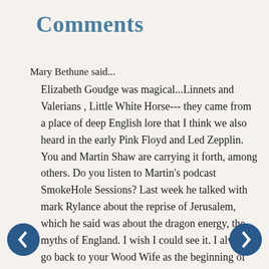Comments
Mary Bethune said...
Elizabeth Goudge was magical...Linnets and Valerians , Little White Horse--- they came from a place of deep English lore that I think we also heard in the early Pink Floyd and Led Zepplin. You and Martin Shaw are carrying it forth, among others. Do you listen to Martin's podcast SmokeHole Sessions? Last week he talked with mark Rylance about the reprise of Jerusalem, which he said was about the dragon energy, the myths of England. I wish I could see it. I always go back to your Wood Wife as the beginning of my search for the deep spiritual in nature. I am from